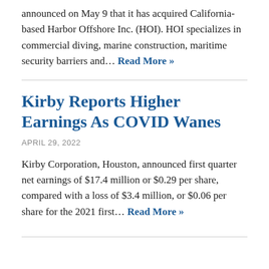announced on May 9 that it has acquired California-based Harbor Offshore Inc. (HOI). HOI specializes in commercial diving, marine construction, maritime security barriers and… Read More »
Kirby Reports Higher Earnings As COVID Wanes
APRIL 29, 2022
Kirby Corporation, Houston, announced first quarter net earnings of $17.4 million or $0.29 per share, compared with a loss of $3.4 million, or $0.06 per share for the 2021 first… Read More »